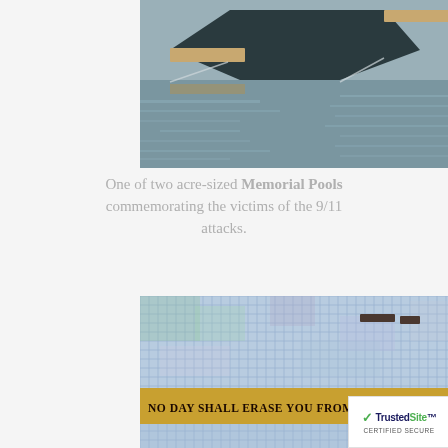[Figure (photo): Aerial-angle view of one of the 9/11 Memorial reflecting pools — a large square pool with water cascading into a dark void, surrounded by a bronze parapet. Grey water reflections visible.]
One of two acre-sized Memorial Pools commemorating the victims of the 9/11 attacks.
[Figure (photo): Blue mosaic tile wall at the 9/11 Memorial Museum featuring a golden inscription band reading: 'NO DAY SHALL ERASE YOU FROM THE MEMORY OF TIME — Virgil'. A TrustedSite Certified Secure badge overlays the bottom-right corner.]